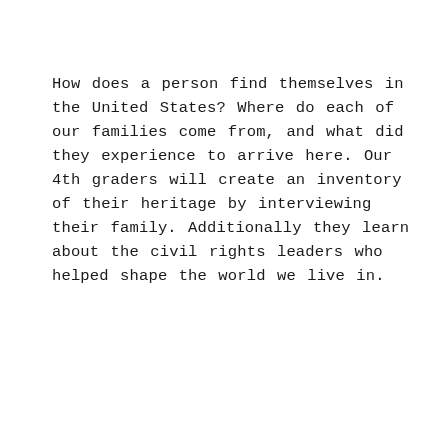How does a person find themselves in the United States? Where do each of our families come from, and what did they experience to arrive here. Our 4th graders will create an inventory of their heritage by interviewing their family. Additionally they learn about the civil rights leaders who helped shape the world we live in.